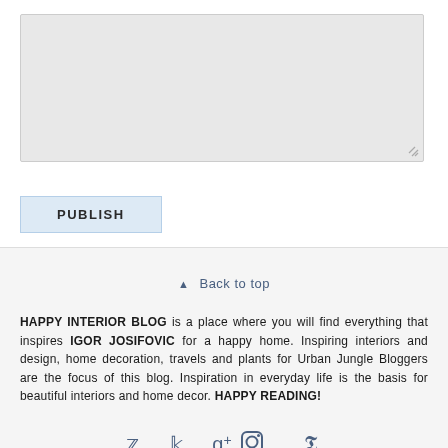[Figure (screenshot): A grey textarea input box with resize handle in bottom-right corner]
PUBLISH
Back to top
HAPPY INTERIOR BLOG is a place where you will find everything that inspires IGOR JOSIFOVIC for a happy home. Inspiring interiors and design, home decoration, travels and plants for Urban Jungle Bloggers are the focus of this blog. Inspiration in everyday life is the basis for beautiful interiors and home decor. HAPPY READING!
[Figure (screenshot): Social media icons: Twitter, Facebook, Google+, Instagram, Pinterest]